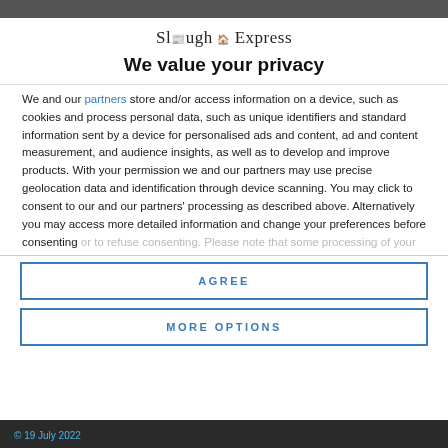[Figure (logo): Slough Express newspaper logo with small crest icon]
We value your privacy
We and our partners store and/or access information on a device, such as cookies and process personal data, such as unique identifiers and standard information sent by a device for personalised ads and content, ad and content measurement, and audience insights, as well as to develop and improve products. With your permission we and our partners may use precise geolocation data and identification through device scanning. You may click to consent to our and our partners' processing as described above. Alternatively you may access more detailed information and change your preferences before consenting or to refuse consenting. Please note that some processing of your
AGREE
MORE OPTIONS
© 19 July 2022